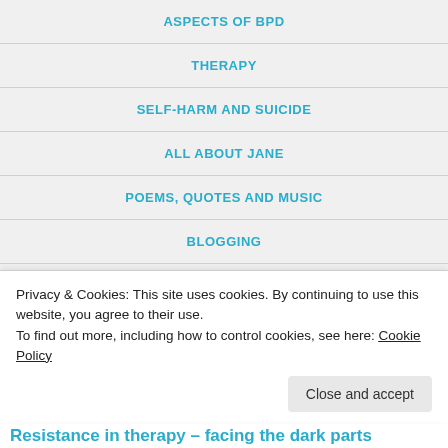ASPECTS OF BPD
THERAPY
SELF-HARM AND SUICIDE
ALL ABOUT JANE
POEMS, QUOTES AND MUSIC
BLOGGING
REBLOGS
MEMORY MONDAY
Privacy & Cookies: This site uses cookies. By continuing to use this website, you agree to their use.
To find out more, including how to control cookies, see here: Cookie Policy
Close and accept
Resistance in therapy – facing the dark parts